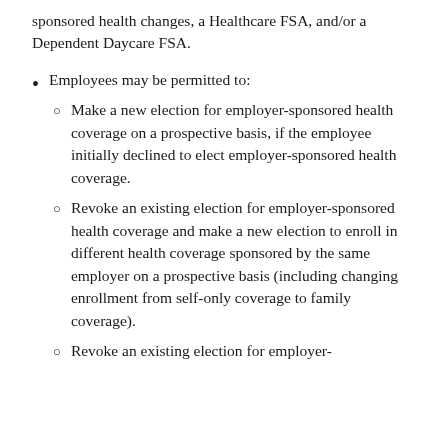sponsored health changes, a Healthcare FSA, and/or a Dependent Daycare FSA.
Employees may be permitted to:
Make a new election for employer-sponsored health coverage on a prospective basis, if the employee initially declined to elect employer-sponsored health coverage.
Revoke an existing election for employer-sponsored health coverage and make a new election to enroll in different health coverage sponsored by the same employer on a prospective basis (including changing enrollment from self-only coverage to family coverage).
Revoke an existing election for employer-